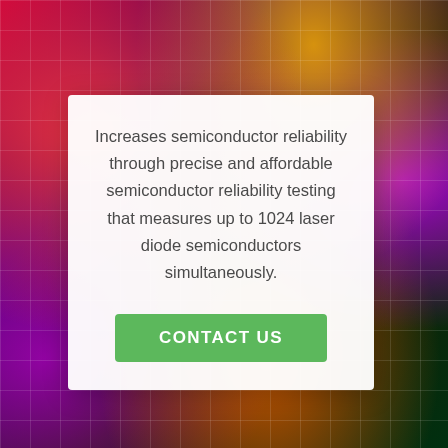[Figure (photo): Colorful semiconductor wafer with chip circuits, showing vibrant colors including red, orange, yellow, green, purple and pink under lighting, with white grid lines visible]
Increases semiconductor reliability through precise and affordable semiconductor reliability testing that measures up to 1024 laser diode semiconductors simultaneously.
CONTACT US